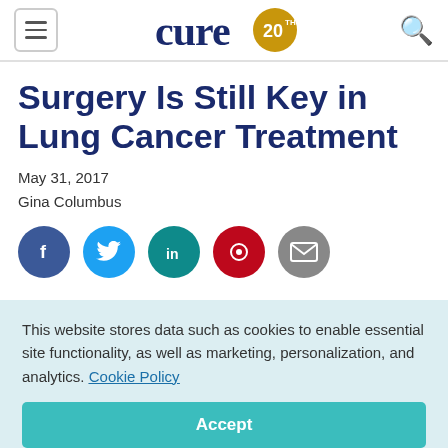cure 20th anniversary
Surgery Is Still Key in Lung Cancer Treatment
May 31, 2017
Gina Columbus
[Figure (other): Social sharing icons row: Facebook (blue circle), Twitter (light blue circle), LinkedIn (teal circle), Pinterest (red circle), Email (gray circle)]
This website stores data such as cookies to enable essential site functionality, as well as marketing, personalization, and analytics. Cookie Policy
Accept
Deny